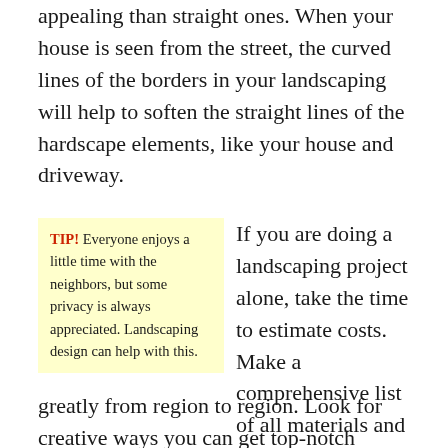appealing than straight ones. When your house is seen from the street, the curved lines of the borders in your landscaping will help to soften the straight lines of the hardscape elements, like your house and driveway.
TIP! Everyone enjoys a little time with the neighbors, but some privacy is always appreciated. Landscaping design can help with this.
If you are doing a landscaping project alone, take the time to estimate costs. Make a comprehensive list of all materials and supplies that will need to complete the project. Prices can vary greatly from region to region. Look for creative ways you can get top-notch materials at low